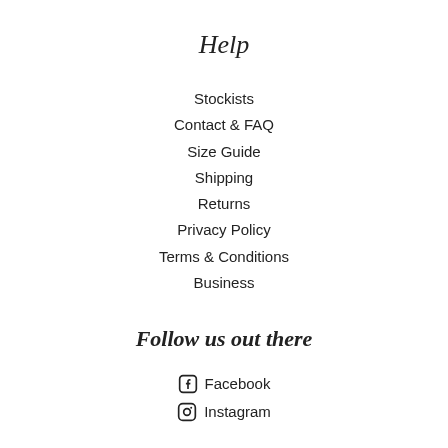Help
Stockists
Contact & FAQ
Size Guide
Shipping
Returns
Privacy Policy
Terms & Conditions
Business
Follow us out there
Facebook
Instagram
About LÄST